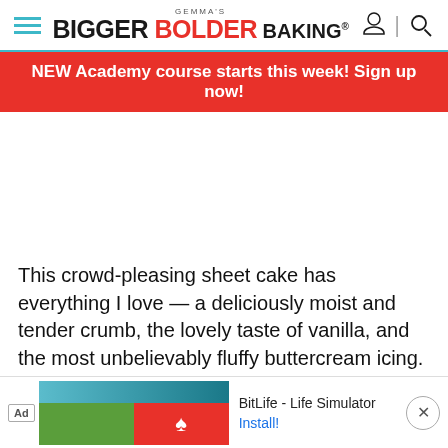GEMMA'S BIGGER BOLDER BAKING®
NEW Academy course starts this week! Sign up now!
[Figure (photo): White/blank image area (image not loaded or placeholder)]
This crowd-pleasing sheet cake has everything I love — a deliciously moist and tender crumb, the lovely taste of vanilla, and the most unbelievably fluffy buttercream icing.
My ho... people... s
[Figure (screenshot): Advertisement banner: Ad label, BitLife - Life Simulator game ad with Install button and close button]